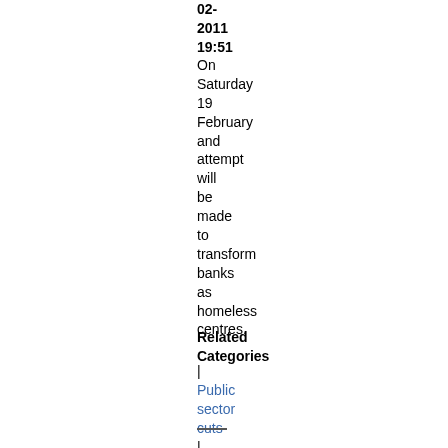02-
2011
19:51
On Saturday 19 February and attempt will be made to transform banks as homeless centres.
Related Categories
|
Public sector cuts
|
Repression